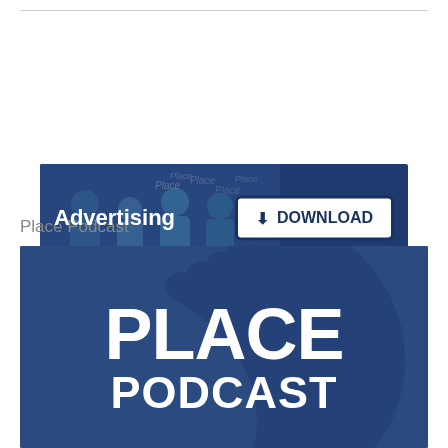[Figure (illustration): Advertising banner with dark blue background showing people in a meeting/panel setting, 'Advertising' text in white on left, and a white 'DOWNLOAD' button with download icon on the right]
Place Podcast
[Figure (illustration): Place Podcast logo image with dark navy blue background, large stylized microphone grille graphic in darker blue, bold white text 'PLACE' prominently displayed and 'PODCAST' partially visible at the bottom]